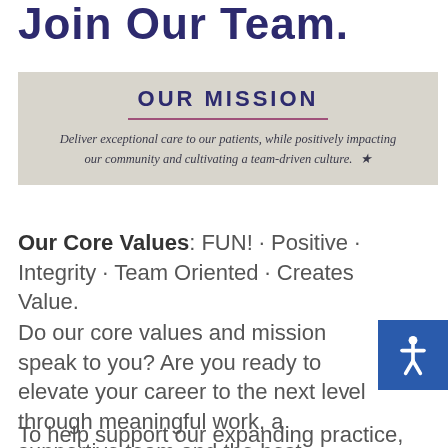Join Our Team
OUR MISSION
Deliver exceptional care to our patients, while positively impacting our community and cultivating a team-driven culture.
Our Core Values: FUN! · Positive · Integrity · Team Oriented · Creates Value.
Do our core values and mission speak to you? Are you ready to elevate your career to the next level through meaningful work, a supportive team and the best patients around?
To help support our expanding practice, we're